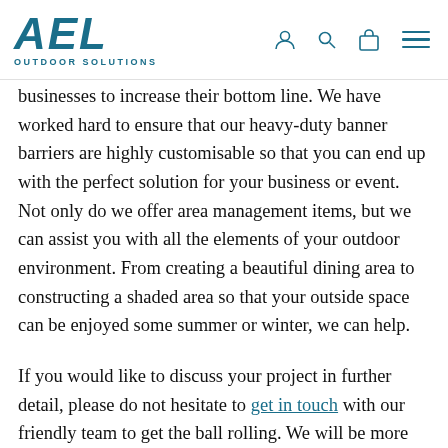AEL OUTDOOR SOLUTIONS
businesses to increase their bottom line. We have worked hard to ensure that our heavy-duty banner barriers are highly customisable so that you can end up with the perfect solution for your business or event. Not only do we offer area management items, but we can assist you with all the elements of your outdoor environment. From creating a beautiful dining area to constructing a shaded area so that your outside space can be enjoyed some summer or winter, we can help.
If you would like to discuss your project in further detail, please do not hesitate to get in touch with our friendly team to get the ball rolling. We will be more than happy to